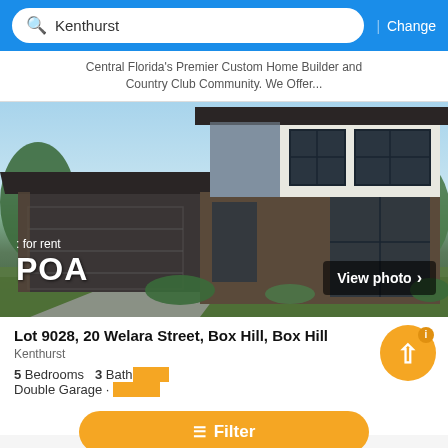Kenthurst
| Change
Central Florida's Premier Custom Home Builder and Country Club Community. We Offer...
[Figure (photo): Two-storey modern house with dark roof, brick garage, white cladding upper floor, large windows, landscaping. Overlay text: 'for rent' and 'POA'. Button: 'View photo >']
Lot 9028, 20 Welara Street, Box Hill, Box Hill
Kenthurst
5 Bedrooms   3 Baths
Double Garage · En suite
Filter